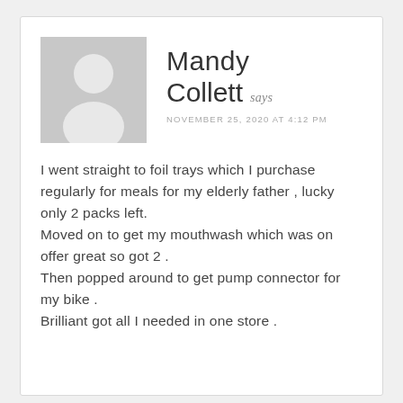[Figure (illustration): Generic grey avatar placeholder image showing a silhouette of a person (head and shoulders) on a grey square background]
Mandy Collett says
NOVEMBER 25, 2020 AT 4:12 PM
I went straight to foil trays which I purchase regularly for meals for my elderly father , lucky only 2 packs left.
Moved on to get my mouthwash which was on offer great so got 2 .
Then popped around to get pump connector for my bike .
Brilliant got all I needed in one store .